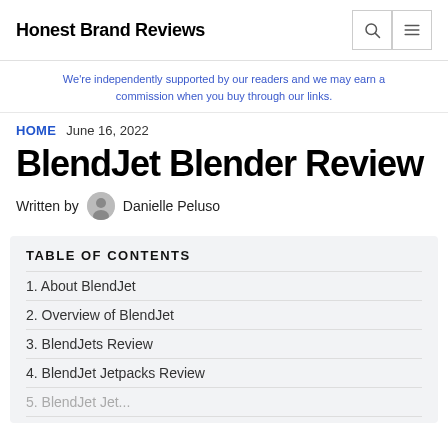Honest Brand Reviews
We're independently supported by our readers and we may earn a commission when you buy through our links.
HOME   June 16, 2022
BlendJet Blender Review
Written by Danielle Peluso
TABLE OF CONTENTS
1. About BlendJet
2. Overview of BlendJet
3. BlendJets Review
4. BlendJet Jetpacks Review
5. BlendJet Jet...